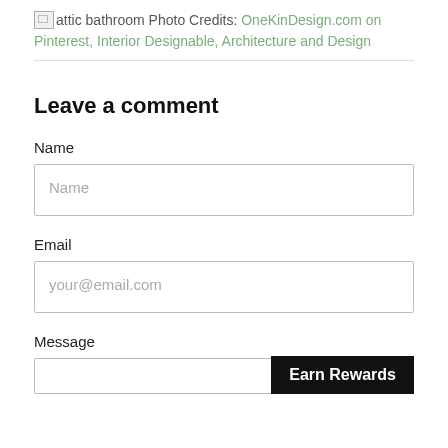attic bathroom Photo Credits: OneKinDesign.com on Pinterest, Interior Designable, Architecture and Design
Leave a comment
Name
Name
Email
your@email.com
Message
Earn Rewards